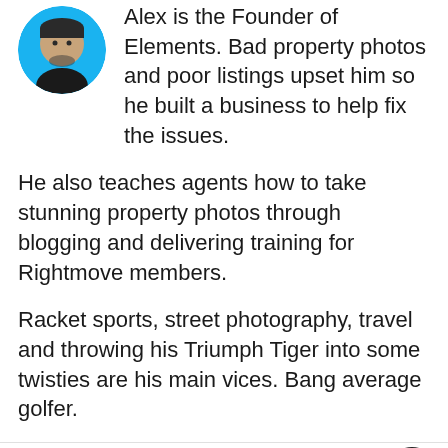[Figure (photo): Circular avatar photo of a man with beard against a blue background]
Alex is the Founder of Elements. Bad property photos and poor listings upset him so he built a business to help fix the issues.
He also teaches agents how to take stunning property photos through blogging and delivering training for Rightmove members.
Racket sports, street photography, travel and throwing his Triumph Tiger into some twisties are his main vices. Bang average golfer.
Published on 2 September 2017